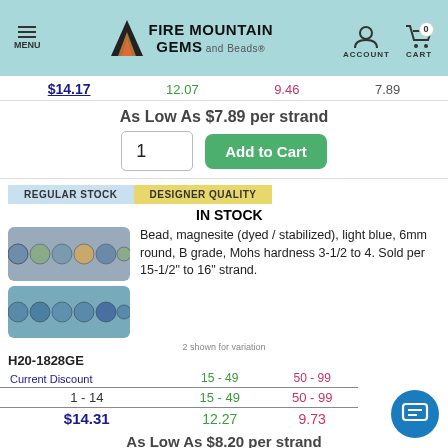MENU | FIRE MOUNTAIN GEMS and Beads | ACCOUNT | CART 0
$14.17   12.07   9.46   7.89
As Low As $7.89 per strand
1  Add to Cart
REGULAR STOCK   DESIGNER QUALITY
IN STOCK
[Figure (photo): Two strands of light blue magnesite dyed/stabilized round beads, 6mm]
Bead, magnesite (dyed / stabilized), light blue, 6mm round, B grade, Mohs hardness 3-1/2 to 4. Sold per 15-1/2" to 16" strand.
2 shown for variation
H20-1828GE
| Current Discount | 15 - 49 | 50 - 99 |
| --- | --- | --- |
| 1 - 14 | 15 - 49 | 50 - 99 |
| $14.31 | 12.27 | 9.73 |
As Low As $8.20 per strand